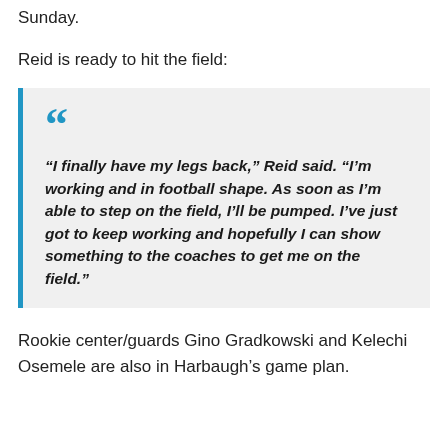Sunday.
Reid is ready to hit the field:
“I finally have my legs back,” Reid said. “I’m working and in football shape. As soon as I’m able to step on the field, I’ll be pumped. I’ve just got to keep working and hopefully I can show something to the coaches to get me on the field.”
Rookie center/guards Gino Gradkowski and Kelechi Osemele are also in Harbaugh’s game plan.